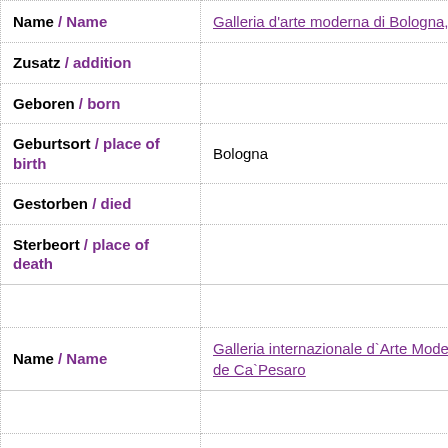| Field | Value |
| --- | --- |
| Name / Name | Galleria d'arte moderna di Bologna, |
| Zusatz / addition |  |
| Geboren / born |  |
| Geburtsort / place of birth | Bologna |
| Gestorben / died |  |
| Sterbeort / place of death |  |
|  |  |
| Name / Name | Galleria internazionale d`Arte Moderna de Ca`Pesaro |
|  |  |
| Name / Name | Galleria nazionale d'arte moderna e contemporanea, Rom, |